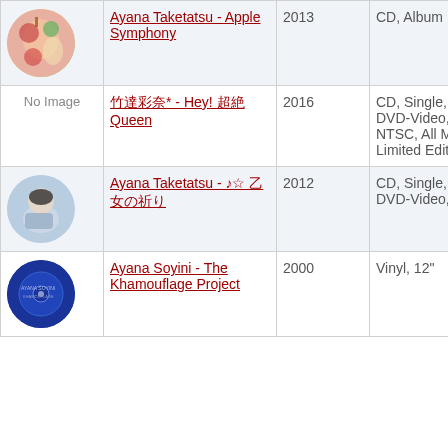| Image | Title | Year | Format |
| --- | --- | --- | --- |
| [album art] | Ayana Taketatsu - Apple Symphony | 2013 | CD, Album |
| No Image | 竹達彩奈* - Hey! 超絶Queen | 2016 | CD, Single, DVD, DVD-Video, NTSC, All Media, Limited Edition |
| [album art] | Ayana Taketatsu - ♪☆彡 乙女の祈り | 2012 | CD, Single, DVD, DVD-Video, NTSC |
| [album art] | Ayana Soyini - The Khamouflage Project | 2000 | Vinyl, 12" |